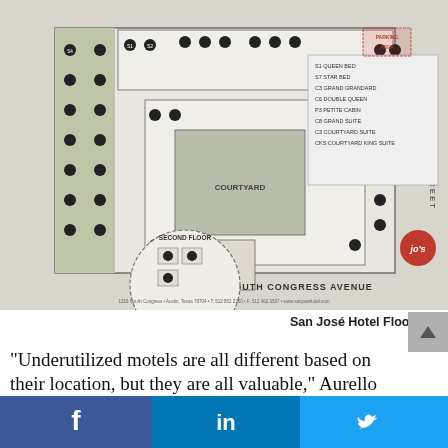[Figure (other): San José Hotel floorplan architectural drawing showing room layout, courtyard, front desk and lounge, second floor inset, room legend, and South Congress Avenue label]
San José Hotel Floorplan
“Underutilized motels are all different based on their location, but they are all valuable,” Aurello said. “You can’t replicate that in new
[Figure (other): Social media share buttons: Facebook (f), LinkedIn (in), Twitter bird icon]